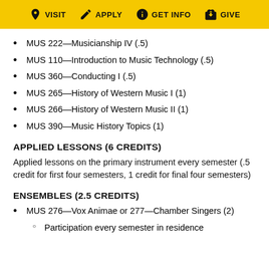VISIT  APPLY  GET INFO  GIVE
MUS 222—Musicianship IV (.5)
MUS 110—Introduction to Music Technology (.5)
MUS 360—Conducting I (.5)
MUS 265—History of Western Music I (1)
MUS 266—History of Western Music II (1)
MUS 390—Music History Topics (1)
APPLIED LESSONS (6 CREDITS)
Applied lessons on the primary instrument every semester (.5 credit for first four semesters, 1 credit for final four semesters)
ENSEMBLES (2.5 CREDITS)
MUS 276—Vox Animae or 277—Chamber Singers (2)
Participation every semester in residence